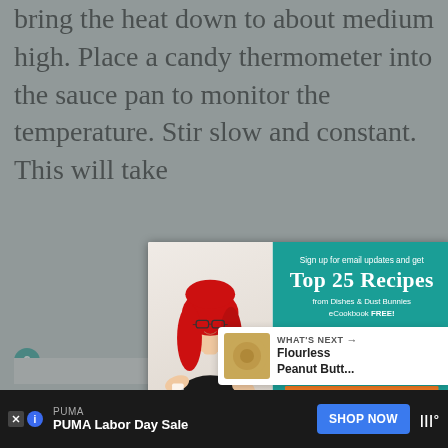bring the heat down to about medium high. Place a candy thermometer into the sauce pan to monitor the temperature. Stir slow and constant. This will take about 10 min...
6 ...heavy whipping cream and the butter. Stir together to combine all ingredients.
[Figure (screenshot): Email signup popup modal with woman with red hair photo on left, teal background on right with text 'Sign up for email updates and get TOP 25 RECIPES from Dishes & Dust Bunnies eCookbook FREE!' with name and email input fields and orange 'SEND ME THE ECOOKBOOK!' button. Close X button in top right corner.]
[Figure (screenshot): What's Next promotional banner showing a cookie image and text 'WHAT'S NEXT → Flourless Peanut Butt...']
[Figure (screenshot): Advertisement bar at bottom: PUMA Labor Day Sale with SHOP NOW button]